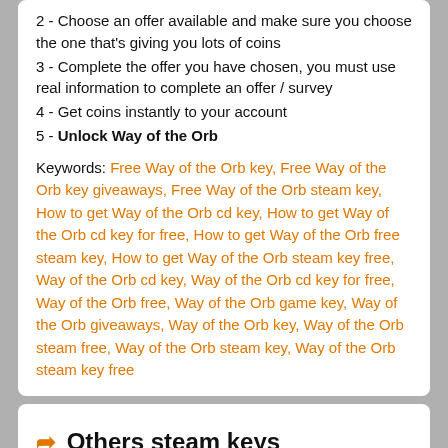2 - Choose an offer available and make sure you choose the one that's giving you lots of coins
3 - Complete the offer you have chosen, you must use real information to complete an offer / survey
4 - Get coins instantly to your account
5 - Unlock Way of the Orb
Keywords: Free Way of the Orb key, Free Way of the Orb key giveaways, Free Way of the Orb steam key, How to get Way of the Orb cd key, How to get Way of the Orb cd key for free, How to get Way of the Orb free steam key, How to get Way of the Orb steam key free, Way of the Orb cd key, Way of the Orb cd key for free, Way of the Orb free, Way of the Orb game key, Way of the Orb giveaways, Way of the Orb key, Way of the Orb steam free, Way of the Orb steam key, Way of the Orb steam key free
➦ Others steam keys
[Figure (photo): Dark gradient image placeholder at bottom of page]